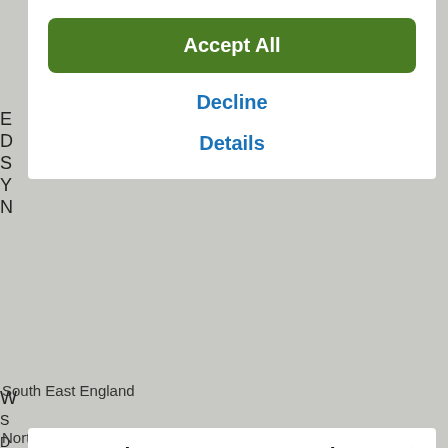[Figure (screenshot): Cookie consent dialog with Accept All button (green), Decline link (blue), Details link (blue) on white background]
South East England
[Figure (screenshot): Komoot app promotion modal with title 'Get komoot, stay on track—however wild you go', description text about turn-by-turn navigation, and App Store download button]
North East England